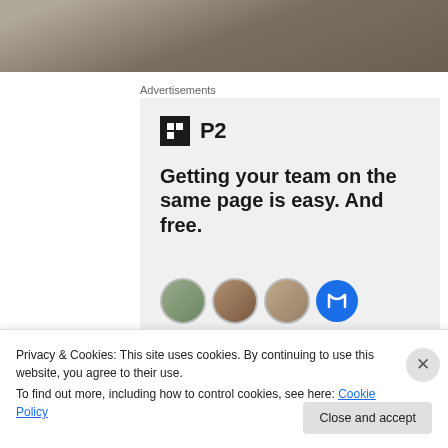[Figure (photo): Top image strip showing a muted brown/grey textured surface (ground or rock)]
Advertisements
[Figure (infographic): Advertisement for P2 service with logo, headline 'Getting your team on the same page is easy. And free.' and row of circular avatar photos]
Privacy & Cookies: This site uses cookies. By continuing to use this website, you agree to their use.
To find out more, including how to control cookies, see here: Cookie Policy
Close and accept